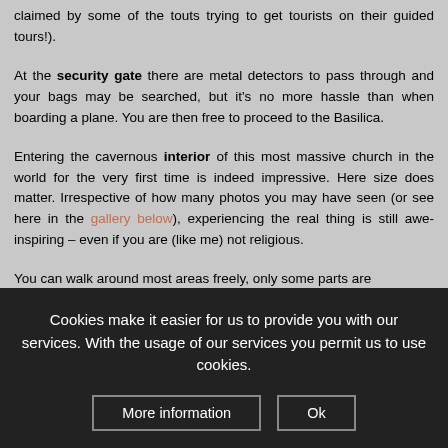claimed by some of the touts trying to get tourists on their guided tours!).
At the security gate there are metal detectors to pass through and your bags may be searched, but it's no more hassle than when boarding a plane. You are then free to proceed to the Basilica.
Entering the cavernous interior of this most massive church in the world for the very first time is indeed impressive. Here size does matter. Irrespective of how many photos you may have seen (or see here in the gallery below), experiencing the real thing is still awe-inspiring – even if you are (like me) not religious.
You can walk around most areas freely, only some parts are
Cookies make it easier for us to provide you with our services. With the usage of our services you permit us to use cookies.